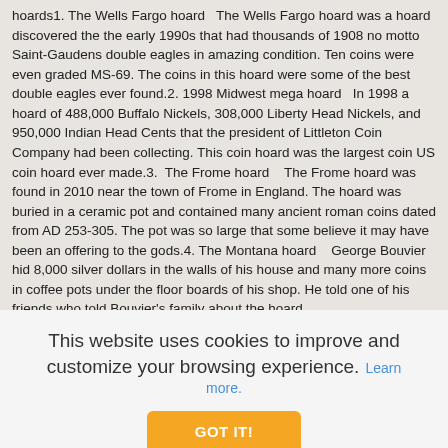hoards1. The Wells Fargo hoard    The Wells Fargo hoard was a hoard discovered the the early 1990s that had thousands of 1908 no motto Saint-Gaudens double eagles in amazing condition. Ten coins were even graded MS-69. The coins in this hoard were some of the best double eagles ever found.2. 1998 Midwest mega hoard    In 1998 a hoard of 488,000 Buffalo Nickels, 308,000 Liberty Head Nickels, and 950,000 Indian Head Cents that the president of Littleton Coin Company had been collecting. This coin hoard was the largest coin US coin hoard ever made.3.  The Frome hoard    The Frome hoard was found in 2010 near the town of Frome in England. The hoard was buried in a ceramic pot and contained many ancient roman coins dated from AD 253-305. The pot was so large that some believe it may have been an offering to the gods.4. The Montana hoard    George Bouvier hid 8,000 silver dollars in the walls of his house and many more coins in coffee pots under the floor boards of his shop. He told one of his friends who told Bouvier's family about the hoard.
This website uses cookies to improve and customize your browsing experience. Learn more.
GOT IT!